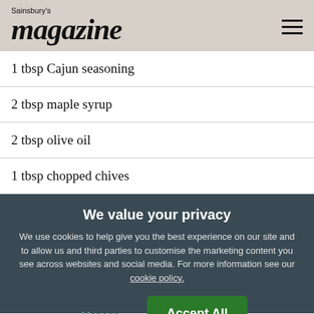Sainsbury's magazine
1 tbsp Cajun seasoning
2 tbsp maple syrup
2 tbsp olive oil
1 tbsp chopped chives
We value your privacy
We use cookies to help give you the best experience on our site and to allow us and third parties to customise the marketing content you see across websites and social media. For more information see our cookie policy.
Manage Preferences
Accept All Cookies